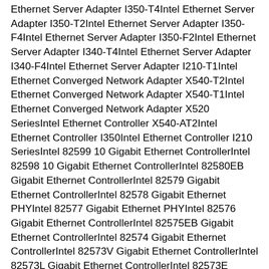Ethernet Server Adapter I350-T4Intel Ethernet Server Adapter I350-T2Intel Ethernet Server Adapter I350-F4Intel Ethernet Server Adapter I350-F2Intel Ethernet Server Adapter I340-T4Intel Ethernet Server Adapter I340-F4Intel Ethernet Server Adapter I210-T1Intel Ethernet Converged Network Adapter X540-T2Intel Ethernet Converged Network Adapter X540-T1Intel Ethernet Converged Network Adapter X520 SeriesIntel Ethernet Controller X540-AT2Intel Ethernet Controller I350Intel Ethernet Controller I210 SeriesIntel 82599 10 Gigabit Ethernet ControllerIntel 82598 10 Gigabit Ethernet ControllerIntel 82580EB Gigabit Ethernet ControllerIntel 82579 Gigabit Ethernet ControllerIntel 82578 Gigabit Ethernet PHYIntel 82577 Gigabit Ethernet PHYIntel 82576 Gigabit Ethernet ControllerIntel 82575EB Gigabit Ethernet ControllerIntel 82574 Gigabit Ethernet ControllerIntel 82573V Gigabit Ethernet ControllerIntel 82573L Gigabit Ethernet ControllerIntel 82573E Gigabit Ethernet ControllerIntel 82572EI Gigabit Ethernet ControllerIntel 82571EB Gigabit